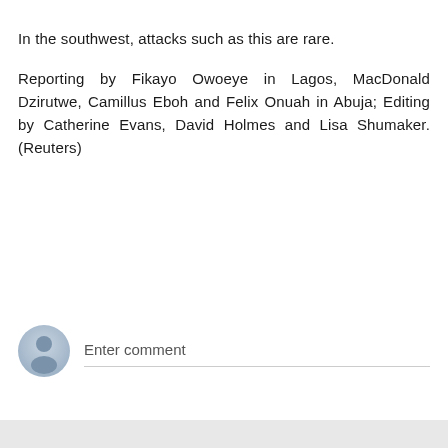In the southwest, attacks such as this are rare.
Reporting by Fikayo Owoeye in Lagos, MacDonald Dzirutwe, Camillus Eboh and Felix Onuah in Abuja; Editing by Catherine Evans, David Holmes and Lisa Shumaker. (Reuters)
[Figure (illustration): Circular avatar icon with a grey silhouette of a person on a light blue-grey gradient background, representing an anonymous user profile picture]
Enter comment